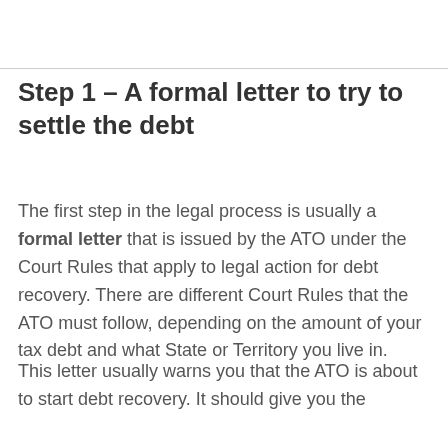Step 1 – A formal letter to try to settle the debt
The first step in the legal process is usually a formal letter that is issued by the ATO under the Court Rules that apply to legal action for debt recovery. There are different Court Rules that the ATO must follow, depending on the amount of your tax debt and what State or Territory you live in.
This letter usually warns you that the ATO is about to start debt recovery. It should give you the chance to settle the debt before the...